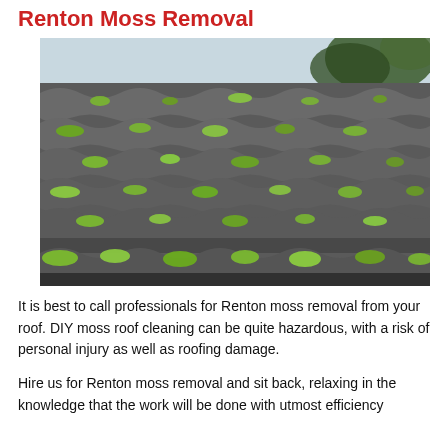Renton Moss Removal
[Figure (photo): Close-up photograph of a corrugated roof tile covered in bright green moss growth along the ridges]
It is best to call professionals for Renton moss removal from your roof. DIY moss roof cleaning can be quite hazardous, with a risk of personal injury as well as roofing damage.
Hire us for Renton moss removal and sit back, relaxing in the knowledge that the work will be done with utmost efficiency